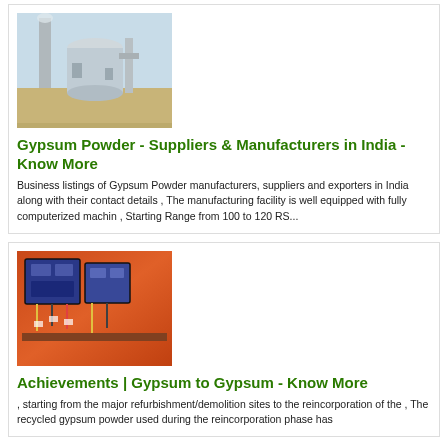[Figure (photo): Industrial plant with large cylindrical tanks and piping structures against a clear sky]
Gypsum Powder - Suppliers & Manufacturers in India - Know More
Business listings of Gypsum Powder manufacturers, suppliers and exporters in India along with their contact details , The manufacturing facility is well equipped with fully computerized machin , Starting Range from 100 to 120 RS...
[Figure (photo): Electrical panel or circuit breaker board with orange and red wiring and multiple components]
Achievements | Gypsum to Gypsum - Know More
, starting from the major refurbishment/demolition sites to the reincorporation of the , The recycled gypsum powder used during the reincorporation phase has